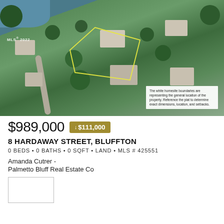[Figure (photo): Aerial photo of residential property at 8 Hardaway Street, Bluffton. Shows a wooded lot outlined in white/yellow lines indicating the homesite boundaries. Surrounding homes, trees, a water body visible in upper left. Inset text box explains the white homesite boundaries represent the general property location. MLS 2022 watermark in upper left.]
$989,000  ↓ $111,000
8 HARDAWAY STREET, BLUFFTON
0 BEDS  •  0 BATHS  •  0 SQFT  •  LAND  •  MLS # 425551
Amanda Cutrer -
Palmetto Bluff Real Estate Co
[Figure (logo): Palmetto Bluff Real Estate Co logo box (white rectangle with border)]